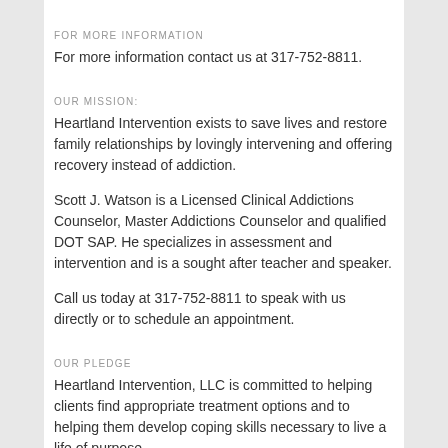FOR MORE INFORMATION
For more information contact us at 317-752-8811.
OUR MISSION:
Heartland Intervention exists to save lives and restore family relationships by lovingly intervening and offering recovery instead of addiction.
Scott J. Watson is a Licensed Clinical Addictions Counselor, Master Addictions Counselor and qualified DOT SAP. He specializes in assessment and intervention and is a sought after teacher and speaker.
Call us today at 317-752-8811 to speak with us directly or to schedule an appointment.
OUR PLEDGE
Heartland Intervention, LLC is committed to helping clients find appropriate treatment options and to helping them develop coping skills necessary to live a life of purpose.